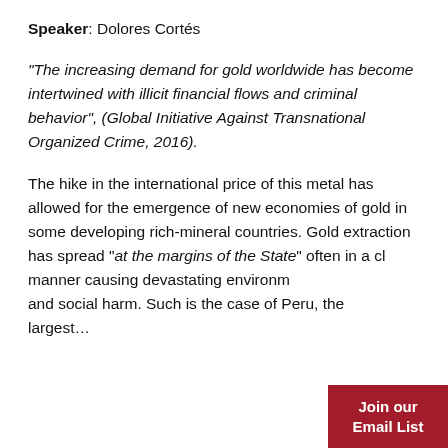Speaker: Dolores Cortés
“The increasing demand for gold worldwide has become intertwined with illicit financial flows and criminal behavior”, (Global Initiative Against Transnational Organized Crime, 2016).
The hike in the international price of this metal has allowed for the emergence of new economies of gold in some developing rich-mineral countries. Gold extraction has spread “at the margins of the State” often in a cl... manner causing devastating environm... and social harm. Such is the case of Peru, the largest...